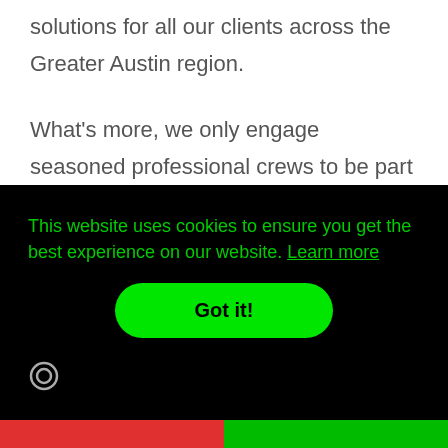solutions for all our clients across the Greater Austin region.
What's more, we only engage seasoned professional crews to be part of our locksmith family. For our crew, an extensive understanding of the most
This website uses cookies to ensure you get the best experience on our website. Learn more
Got it!